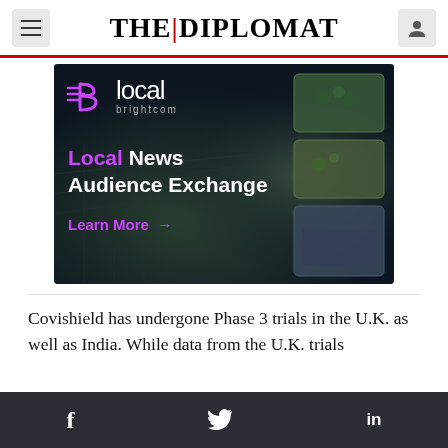THE DIPLOMAT
[Figure (illustration): Brightcom 'Blocal' advertisement banner showing aerial city view with text 'Local News Audience Exchange' and 'Learn More' call to action]
Covishield has undergone Phase 3 trials in the U.K. as well as India. While data from the U.K. trials
f  Twitter  in